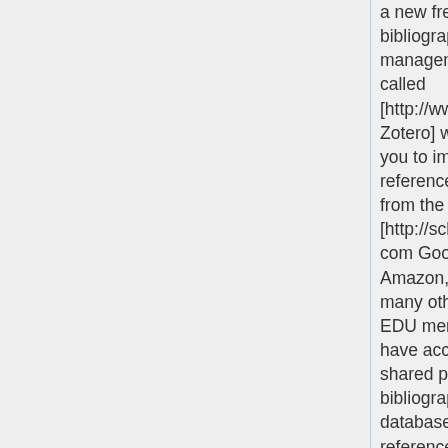a new free bibliographic management tool called [http://www.zotero.org Zotero] which allows you to import references directly from the web (from [http://scholar.google.com Google Scholar], Amazon, etc.). It has many other features. EDU members also have access to a shared private bibliographical database with 250+ references.
a new free bibliographic management tool called [http://www.zotero.org Zotero] which allows you to import references directly from the web (from [http://scholar.google.com Google Scholar], Amazon, etc.). It has many other features. EDU members also have access to a shared private bibliographical database with 250+ references.